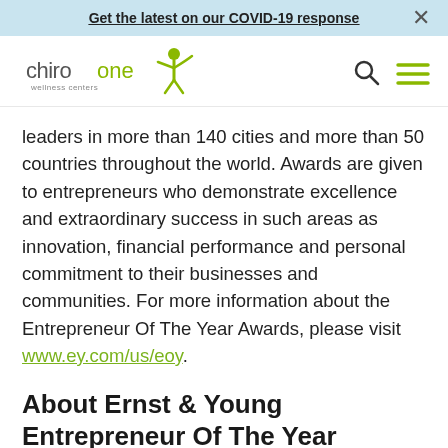Get the latest on our COVID-19 response ×
[Figure (logo): Chiro One Wellness Centers logo — green figure with outstretched arms, 'chiro one' in grey/green text, 'wellness centers' subtitle]
leaders in more than 140 cities and more than 50 countries throughout the world. Awards are given to entrepreneurs who demonstrate excellence and extraordinary success in such areas as innovation, financial performance and personal commitment to their businesses and communities. For more information about the Entrepreneur Of The Year Awards, please visit www.ey.com/us/eoy.
About Ernst & Young Entrepreneur Of The Year